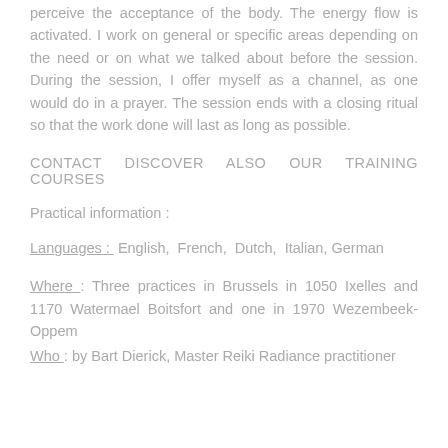perceive the acceptance of the body. The energy flow is activated. I work on general or specific areas depending on the need or on what we talked about before the session. During the session, I offer myself as a channel, as one would do in a prayer. The session ends with a closing ritual so that the work done will last as long as possible.
CONTACT DISCOVER ALSO OUR TRAINING COURSES
Practical information :
Languages : English, French, Dutch, Italian, German
Where : Three practices in Brussels in 1050 Ixelles and 1170 Watermael Boitsfort and one in 1970 Wezembeek-Oppem
Who : by Bart Dierick, Master Reiki Radiance practitioner